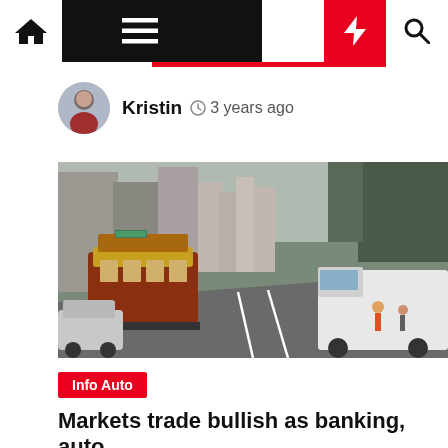Navbar with home, menu, moon, bolt, search icons
Kristin  3 years ago
[Figure (photo): San Francisco street scene with a cable car on the left and a delivery truck on the right, urban canyon with tall buildings in the background]
Info Auto
Markets trade bullish as banking, auto,